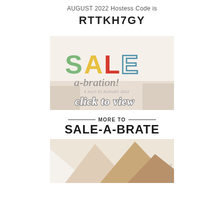AUGUST 2022 Hostess Code is
RTTKH7GY
[Figure (illustration): Sale-a-bration promotional banner with colorful SALE text and 'click to view' overlay in script font, showing craft/stamping products in background]
[Figure (illustration): MORE TO SALE-A-BRATE banner with horizontal rules and paper/cardstock product image below showing layered papers in white, cream and gold tones]